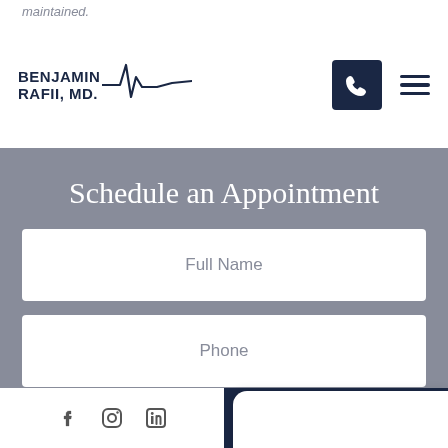maintained.
[Figure (logo): Benjamin Rafii MD logo with heartbeat wave line]
[Figure (screenshot): Medical appointment scheduling form with fields: Full Name, Phone, and additional fields partially visible. Overlay popup with female customer service representative avatar visible on the right side.]
Schedule an Appointment
Full Name
Phone
How
Contact Us